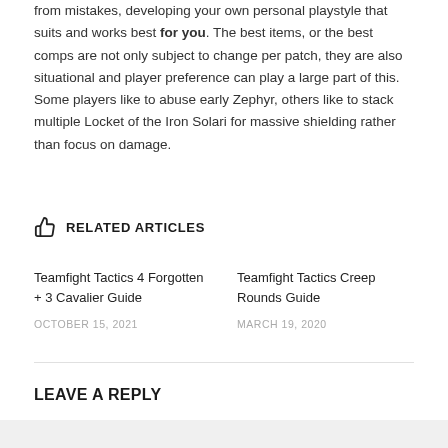from mistakes, developing your own personal playstyle that suits and works best for you. The best items, or the best comps are not only subject to change per patch, they are also situational and player preference can play a large part of this. Some players like to abuse early Zephyr, others like to stack multiple Locket of the Iron Solari for massive shielding rather than focus on damage.
RELATED ARTICLES
Teamfight Tactics 4 Forgotten + 3 Cavalier Guide
OCTOBER 15, 2021
Teamfight Tactics Creep Rounds Guide
MARCH 19, 2020
LEAVE A REPLY